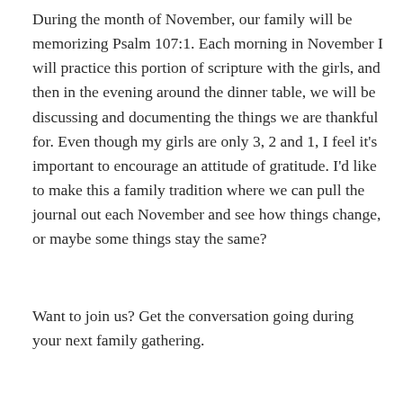During the month of November, our family will be memorizing Psalm 107:1. Each morning in November I will practice this portion of scripture with the girls, and then in the evening around the dinner table, we will be discussing and documenting the things we are thankful for. Even though my girls are only 3, 2 and 1, I feel it's important to encourage an attitude of gratitude. I'd like to make this a family tradition where we can pull the journal out each November and see how things change, or maybe some things stay the same?
Want to join us? Get the conversation going during your next family gathering.
[Figure (logo): Amazon logo with orange arrow and partial image of a black notebook/journal below]